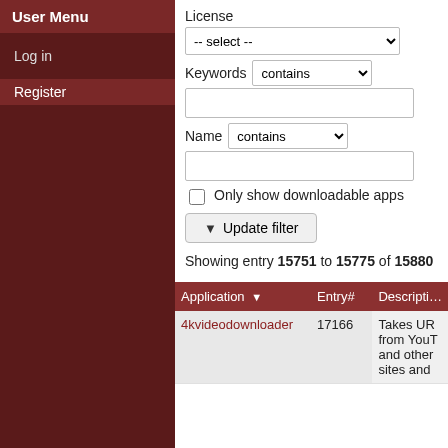User Menu
Log in
Register
License
-- select --
Keywords   contains
Name   contains
Only show downloadable apps
Update filter
Showing entry 15751 to 15775 of 15880
| Application ▼ | Entry# | Descripti… |
| --- | --- | --- |
| 4kvideodownloader | 17166 | Takes UR from YouT and other sites and |